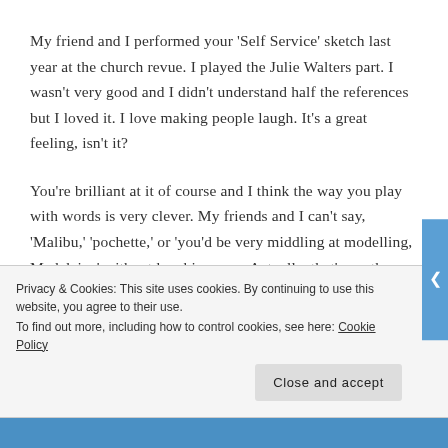My friend and I performed your 'Self Service' sketch last year at the church revue. I played the Julie Walters part. I wasn't very good and I didn't understand half the references but I loved it. I love making people laugh. It's a great feeling, isn't it?
You're brilliant at it of course and I think the way you play with words is very clever. My friends and I can't say, 'Malibu,' 'pochette,' or 'you'd be very middling at modelling, Madeleine' without laughing now. Actually, that's another thing. I've made some really
Privacy & Cookies: This site uses cookies. By continuing to use this website, you agree to their use.
To find out more, including how to control cookies, see here: Cookie Policy
Close and accept